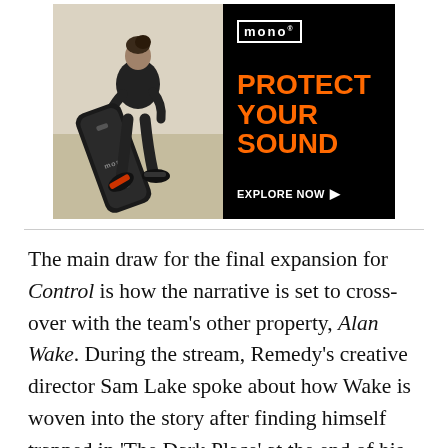[Figure (photo): Advertisement banner for MONO brand guitar cases. Left side shows a person in black clothing holding a MONO guitar case, walking against a light background. Right side has a black background with the MONO logo in white, orange bold text reading 'PROTECT YOUR SOUND', and a white button 'EXPLORE NOW ▶'.]
The main draw for the final expansion for Control is how the narrative is set to cross-over with the team's other property, Alan Wake. During the stream, Remedy's creative director Sam Lake spoke about how Wake is woven into the story after finding himself trapped in 'The Dark Place' at the end of his